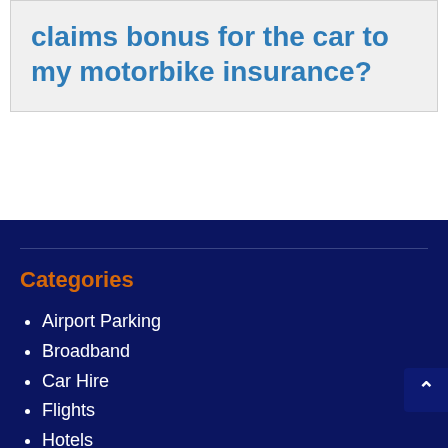claims bonus for the car to my motorbike insurance?
Categories
Airport Parking
Broadband
Car Hire
Flights
Hotels
Insurance
Travel Money